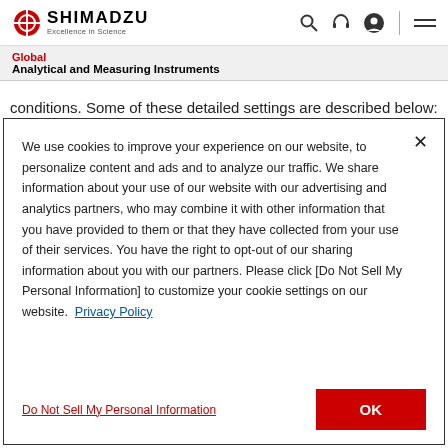[Figure (logo): Shimadzu logo with red circular crosshair icon, bold SHIMADZU text, and tagline 'Excellence in Science']
Global
Analytical and Measuring Instruments
conditions. Some of these detailed settings are described below:
We use cookies to improve your experience on our website, to personalize content and ads and to analyze our traffic. We share information about your use of our website with our advertising and analytics partners, who may combine it with other information that you have provided to them or that they have collected from your use of their services. You have the right to opt-out of our sharing information about you with our partners. Please click [Do Not Sell My Personal Information] to customize your cookie settings on our website. Privacy Policy
Do Not Sell My Personal Information
OK